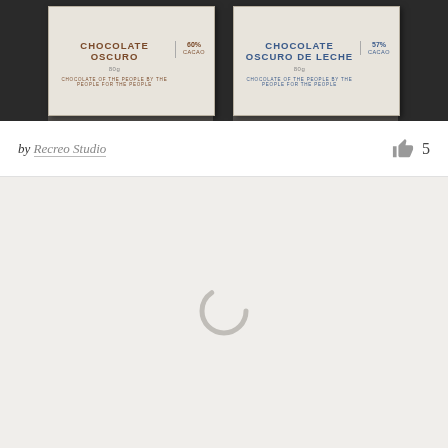[Figure (photo): Two chocolate bar packaging designs on dark background. Left: 'Chocolate Oscuro 60% Cacao 80g, Chocolate of the people by the people for the people' in brown/warm tones. Right: 'Chocolate Oscuro de Leche 57% Cacao 80g, Chocolate of the people by the people for the people' in blue tones. Both on light gray/linen textured packaging.]
by Recreo Studio   👍 5
[Figure (screenshot): Light gray loading panel with a spinning loader icon (circular arc spinner) centered in the middle, indicating content is loading.]